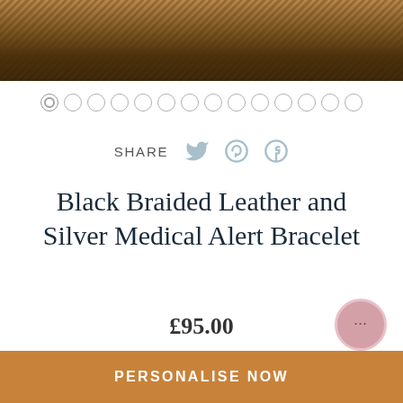[Figure (photo): Hero image showing stacked wooden planks or braided leather material in warm brown tones]
[Figure (other): Dot carousel navigation indicators — 14 circles, first one active/filled]
SHARE
[Figure (other): Social share icons: Twitter bird, Pinterest P-circle, Facebook F-circle in muted blue-grey color]
Black Braided Leather and Silver Medical Alert Bracelet
£95.00
[Figure (other): Round pink chat/messaging button with three dots (ellipsis) in bottom right corner]
PERSONALISE NOW